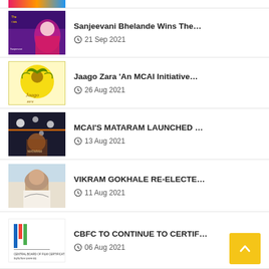Sanjeevani Bhelande Wins The… | 21 Sep 2021
Jaago Zara 'An MCAI Initiative… | 26 Aug 2021
MCAI'S MATARAM LAUNCHED … | 13 Aug 2021
VIKRAM GOKHALE RE-ELECTE… | 11 Aug 2021
CBFC TO CONTINUE TO CERTIF… | 06 Aug 2021